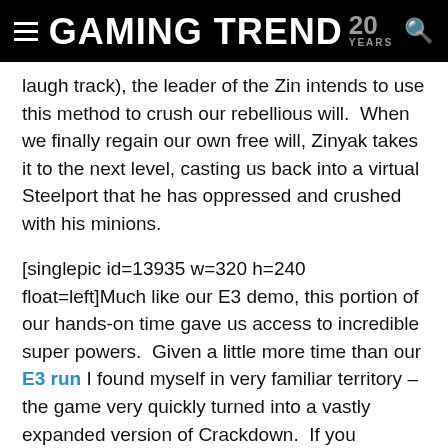GAMING TREND 20 YEARS
laugh track), the leader of the Zin intends to use this method to crush our rebellious will.  When we finally regain our own free will, Zinyak takes it to the next level, casting us back into a virtual Steelport that he has oppressed and crushed with his minions.
[singlepic id=13935 w=320 h=240 float=left]Much like our E3 demo, this portion of our hands-on time gave us access to incredible super powers.  Given a little more time than our E3 run I found myself in very familiar territory – the game very quickly turned into a vastly expanded version of Crackdown.  If you remember how much I couldn't shut up about that game, you'll understand just how high of praise that is. With the ability to super-jump, run faster than any vehicle, and glide once airborne, I was able to zip from place to place to try out some of the new experiences that